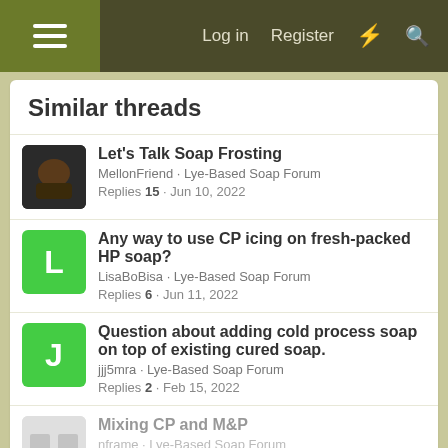Log in  Register
Similar threads
Let's Talk Soap Frosting
MellonFriend · Lye-Based Soap Forum
Replies 15 · Jun 10, 2022
Any way to use CP icing on fresh-packed HP soap?
LisaBoBisa · Lye-Based Soap Forum
Replies 6 · Jun 11, 2022
Question about adding cold process soap on top of existing cured soap.
jjj5mra · Lye-Based Soap Forum
Replies 2 · Feb 15, 2022
Mixing CP and M&P
nframe · Lye-Based Soap Forum
Replies 2 · Apr 4, 2022